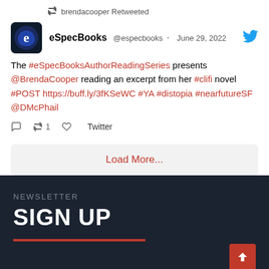brendacooper Retweeted
eSpecBooks @especbooks · June 29, 2022
The #eSpecBooksAuthorReadingSeries presents @BrendaCooper reading an excerpt from her #clifi novel #POST https://buff.ly/3fKSeWC #YA #distopia #nearfutureSF @DMcPhail
Load More...
NEWSLETTER
SIGN UP